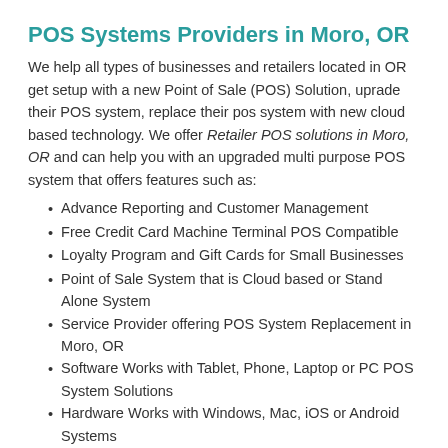POS Systems Providers in Moro, OR
We help all types of businesses and retailers located in OR get setup with a new Point of Sale (POS) Solution, uprade their POS system, replace their pos system with new cloud based technology. We offer Retailer POS solutions in Moro, OR and can help you with an upgraded multi purpose POS system that offers features such as:
Advance Reporting and Customer Management
Free Credit Card Machine Terminal POS Compatible
Loyalty Program and Gift Cards for Small Businesses
Point of Sale System that is Cloud based or Stand Alone System
Service Provider offering POS System Replacement in Moro, OR
Software Works with Tablet, Phone, Laptop or PC POS System Solutions
Hardware Works with Windows, Mac, iOS or Android Systems
Replace your outdated POS with a New Modern Point of Sale Systems in OR
Integrated Chip Card Reader and Credit Card Processing